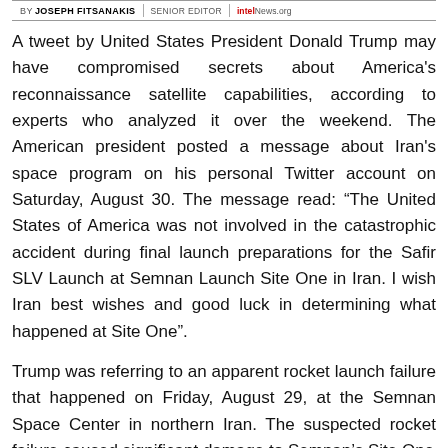BY JOSEPH FITSANAKIS | SENIOR EDITOR | intelNews.org
A tweet by United States President Donald Trump may have compromised secrets about America's reconnaissance satellite capabilities, according to experts who analyzed it over the weekend. The American president posted a message about Iran's space program on his personal Twitter account on Saturday, August 30. The message read: “The United States of America was not involved in the catastrophic accident during final launch preparations for the Safir SLV Launch at Semnan Launch Site One in Iran. I wish Iran best wishes and good luck in determining what happened at Site One”.
Trump was referring to an apparent rocket launch failure that happened on Friday, August 29, at the Semnan Space Center in northern Iran. The suspected rocket failure caused significant damage to Semnan’s Site One